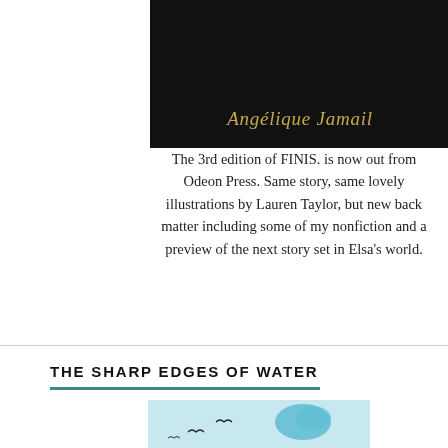[Figure (photo): Book cover with black background showing author name Angélique Jamail in gold italic text]
The 3rd edition of FINIS. is now out from Odeon Press. Same story, same lovely illustrations by Lauren Taylor, but new back matter including some of my nonfiction and a preview of the next story set in Elsa's world.
THE SHARP EDGES OF WATER
[Figure (photo): Partial view of book cover or illustration with light blue background and bird silhouettes]